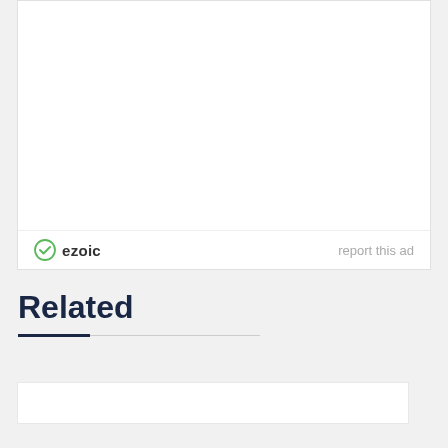[Figure (other): Advertisement container with ezoic branding and 'report this ad' link at the bottom]
Related